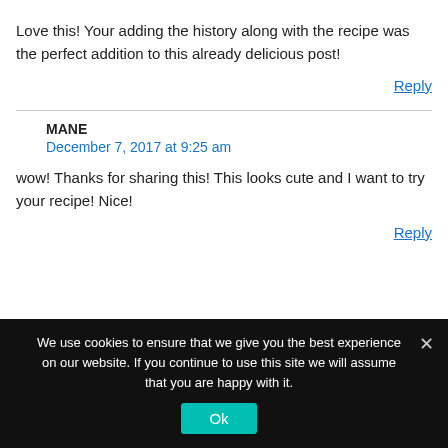Love this! Your adding the history along with the recipe was the perfect addition to this already delicious post!
Reply
MANE
December 7, 2017 at 9:25 am
wow! Thanks for sharing this! This looks cute and I want to try your recipe! Nice!
Reply
We use cookies to ensure that we give you the best experience on our website. If you continue to use this site we will assume that you are happy with it.
Ok